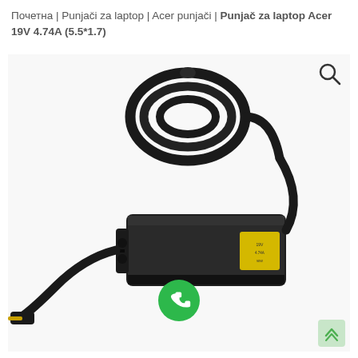Почетна | Punjači za laptop | Acer punjači | Punjač za laptop Acer 19V 4.74A (5.5*1.7)
[Figure (photo): Photo of a black laptop charger/power adapter for Acer 19V 4.74A with a coiled black cable and yellow pin connector tip, on white background. A green phone button icon and a light green scroll-to-top button are overlaid.]